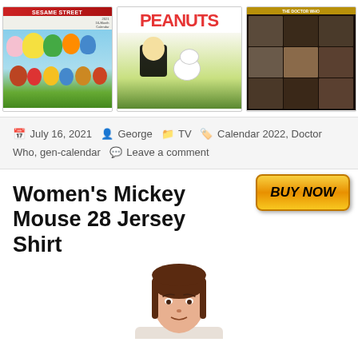[Figure (photo): Three calendar covers side by side: Sesame Street 2021 16-Month Calendar, Peanuts calendar with Charlie Brown and Snoopy, and Doctor Who calendar with cast photos]
July 16, 2021 · George · TV · Calendar 2022, Doctor Who, gen-calendar · Leave a comment
[Figure (illustration): Orange BUY NOW button]
Women's Mickey Mouse 28 Jersey Shirt
[Figure (photo): Woman with brown hair wearing a shirt, partial view showing face and shoulders]